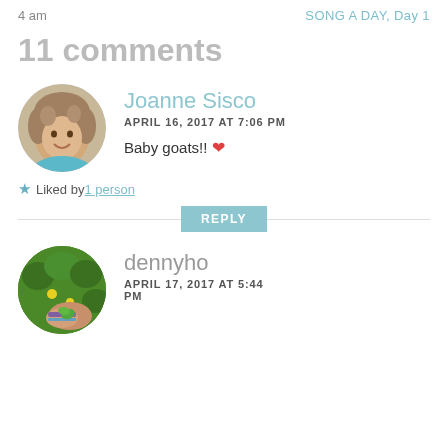4 am
SONG A DAY, Day 1
11 comments
Joanne Sisco
APRIL 16, 2017 AT 7:06 PM
Baby goats!! ❤
Liked by 1 person
REPLY
dennyho
APRIL 17, 2017 AT 5:44 PM